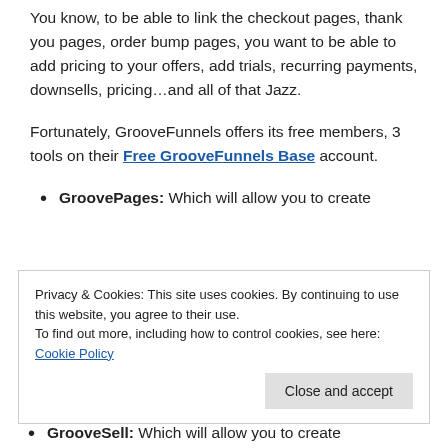You know, to be able to link the checkout pages, thank you pages, order bump pages, you want to be able to add pricing to your offers, add trials, recurring payments, downsells, pricing…and all of that Jazz.
Fortunately, GrooveFunnels offers its free members, 3 tools on their Free GrooveFunnels Base account.
GroovePages: Which will allow you to create
Privacy & Cookies: This site uses cookies. By continuing to use this website, you agree to their use.
To find out more, including how to control cookies, see here: Cookie Policy
GrooveSell: Which will allow you to create